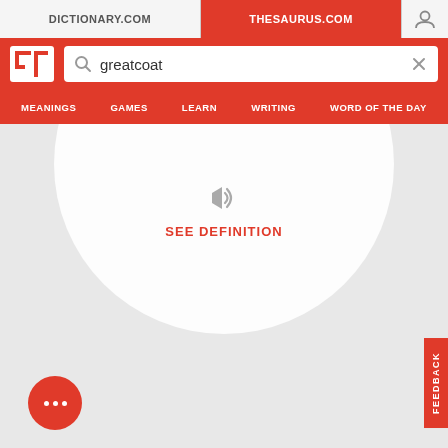[Figure (screenshot): Thesaurus.com mobile website screenshot showing tab bar with DICTIONARY.COM and THESAURUS.COM tabs, search bar with query 'greatcoat', navigation menu with MEANINGS, GAMES, LEARN, WRITING, WORD OF THE DAY, a circular card with speaker icon and SEE DEFINITION link, a FEEDBACK side tab, and a floating action button with three dots.]